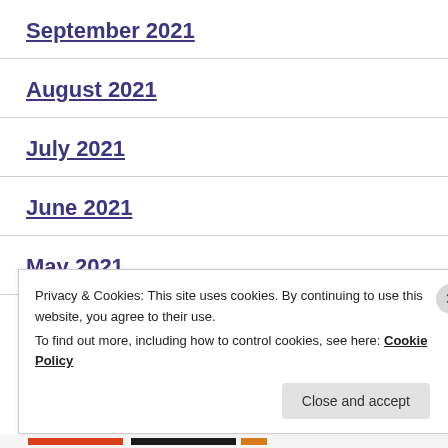September 2021
August 2021
July 2021
June 2021
May 2021
April 2021
Privacy & Cookies: This site uses cookies. By continuing to use this website, you agree to their use. To find out more, including how to control cookies, see here: Cookie Policy